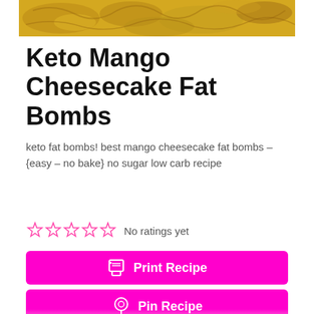[Figure (photo): Close-up photo of Keto Mango Cheesecake Fat Bombs — yellow mango rolls with nut filling]
Keto Mango Cheesecake Fat Bombs
keto fat bombs! best mango cheesecake fat bombs – {easy – no bake} no sugar low carb recipe
No ratings yet (5 empty stars rating)
Print Recipe
Pin Recipe